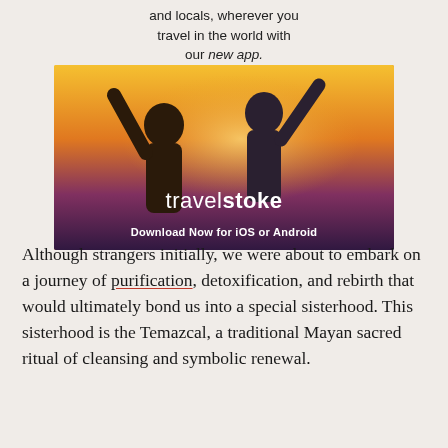[Figure (photo): Advertisement for Travelstoke app showing two people with arms raised against a sunset background, with text 'and locals, wherever you travel in the world with our new app.' above and 'travelstoke / Download Now for iOS or Android' overlaid on the image.]
Although strangers initially, we were about to embark on a journey of purification, detoxification, and rebirth that would ultimately bond us into a special sisterhood. This sisterhood is the Temazcal, a traditional Mayan sacred ritual of cleansing and symbolic renewal.